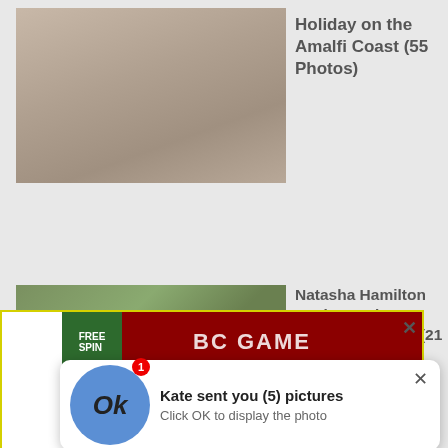[Figure (photo): Two women in swimsuits sunbathing on lounge chairs on the Amalfi Coast]
Holiday on the Amalfi Coast (55 Photos)
[Figure (photo): Natasha Hamilton outdoors in green setting]
Natasha Hamilton Looks Hot in a Bikini Holiday in (21 Photos)
[Figure (screenshot): Advertisement popup overlay: BC.GAME free spin ad with notification 'Kate sent you (5) pictures - Click OK to display the photo'. Ads By ClickAdilla cj4.]